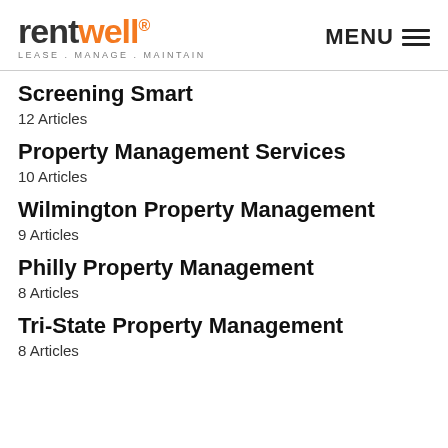rentwell LEASE . MANAGE . MAINTAIN | MENU
Screening Smart
12 Articles
Property Management Services
10 Articles
Wilmington Property Management
9 Articles
Philly Property Management
8 Articles
Tri-State Property Management
8 Articles